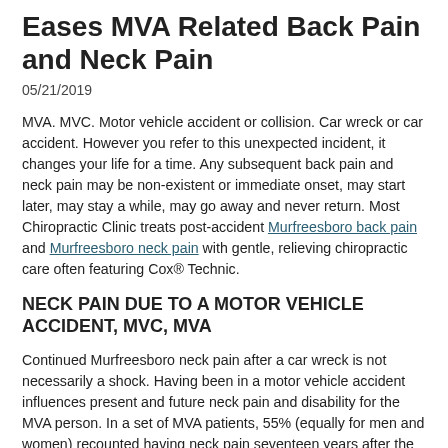Eases MVA Related Back Pain and Neck Pain
05/21/2019
MVA. MVC. Motor vehicle accident or collision. Car wreck or car accident. However you refer to this unexpected incident, it changes your life for a time. Any subsequent back pain and neck pain may be non-existent or immediate onset, may start later, may stay a while, may go away and never return. Most Chiropractic Clinic treats post-accident Murfreesboro back pain and Murfreesboro neck pain with gentle, relieving chiropractic care often featuring Cox® Technic.
NECK PAIN DUE TO A MOTOR VEHICLE ACCIDENT, MVC, MVA
Continued Murfreesboro neck pain after a car wreck is not necessarily a shock. Having been in a motor vehicle accident influences present and future neck pain and disability for the MVA person. In a set of MVA patients, 55% (equally for men and women) recounted having neck pain seventeen years after the